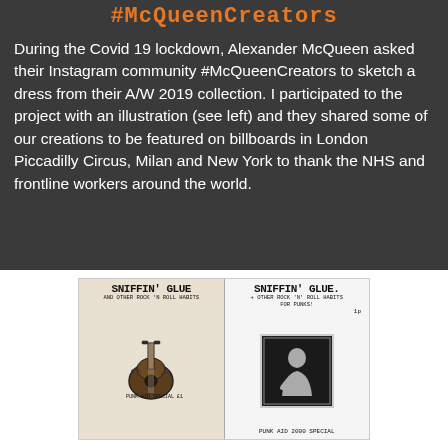#McQueenCreators
During the Covid 19 lockdown, Alexander McQueen asked their Instagram community #McQueenCreators to sketch a dress from their A/W 2019 collection. I participated to the project with an illustration (see left) and they shared some of our creations to be featured on billboards in London Piccadilly Circus, Milan and New York to thank the NHS and frontline workers around the world.
[Figure (photo): Two fanzine covers of 'Sniffin' Glue and other Rock N Roll Habits' — left cover shows a punk-illustrated guitar design labeled 'Punk Aid Special £1', right cover shows a black and white photo of a person labeled 'Punk Aid 2000 Special']